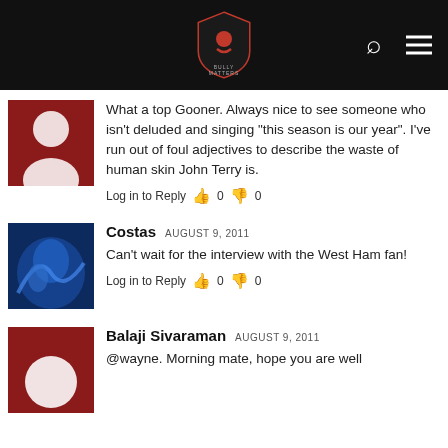BULLY MATTERS [logo, search icon, hamburger menu]
What a top Gooner. Always nice to see someone who isn't deluded and singing "this season is our year". I've run out of foul adjectives to describe the waste of human skin John Terry is.
Log in to Reply  👍 0  👎 0
Costas  AUGUST 9, 2011
Can't wait for the interview with the West Ham fan!
Log in to Reply  👍 0  👎 0
Balaji Sivaraman  AUGUST 9, 2011
@wayne. Morning mate, hope you are well